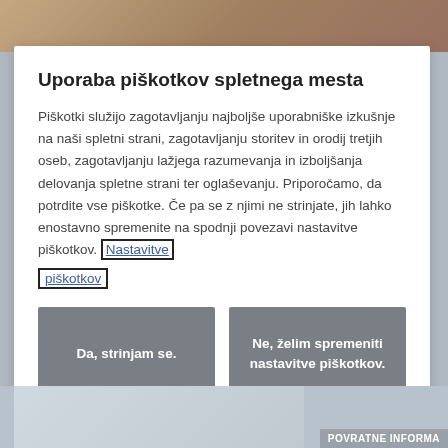[Figure (photo): Top image strip showing a person, cropped]
Uporaba piškotkov spletnega mesta
Piškotki služijo zagotavljanju najboljše uporabniške izkušnje na naši spletni strani, zagotavljanju storitev in orodij tretjih oseb, zagotavljanju lažjega razumevanja in izboljšanja delovanja spletne strani ter oglaševanju. Priporočamo, da potrdite vse piškotke. Če pa se z njimi ne strinjate, jih lahko enostavno spremenite na spodnji povezavi nastavitve piškotkov. Nastavitve piškotkov
Da, strinjam se.
Ne, želim spremeniti nastavitve piškotkov.
[Figure (photo): Bottom image strip showing a partial scene]